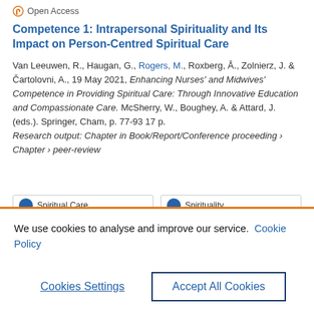Open Access
Competence 1: Intrapersonal Spirituality and Its Impact on Person-Centred Spiritual Care
Van Leeuwen, R., Haugan, G., Rogers, M., Roxberg, Å., Zolnierz, J. & Čartolovni, A., 19 May 2021, Enhancing Nurses' and Midwives' Competence in Providing Spiritual Care: Through Innovative Education and Compassionate Care. McSherry, W., Boughey, A. & Attard, J. (eds.). Springer, Cham, p. 77-93 17 p. Research output: Chapter in Book/Report/Conference proceeding › Chapter › peer-review
We use cookies to analyse and improve our service. Cookie Policy
Cookies Settings
Accept All Cookies